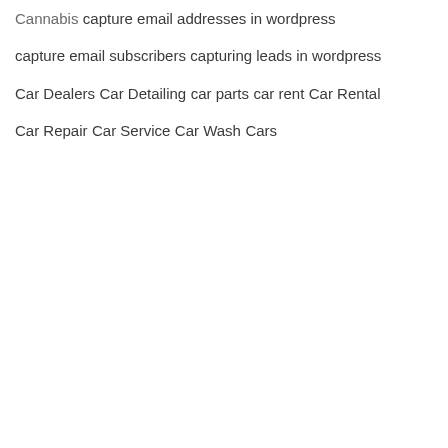Cannabis
capture email addresses in wordpress
capture email subscribers
capturing leads in wordpress
Car Dealers
Car Detailing
car parts
car rent
Car Rental
Car Repair
Car Service
Car Wash
Cars